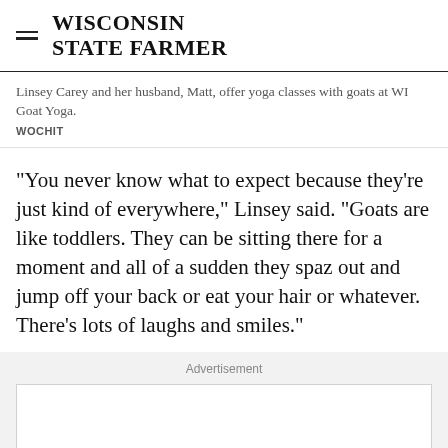WISCONSIN STATE FARMER
Linsey Carey and her husband, Matt, offer yoga classes with goats at WI Goat Yoga.
WOCHIT
"You never know what to expect because they're just kind of everywhere," Linsey said. "Goats are like toddlers. They can be sitting there for a moment and all of a sudden they spaz out and jump off your back or eat your hair or whatever. There's lots of laughs and smiles."
Advertisement